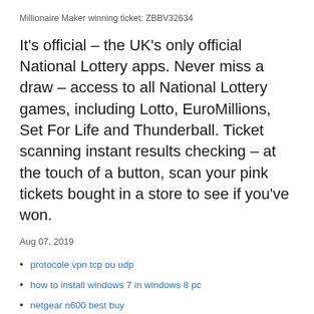Millionaire Maker winning ticket: ZBBV32634
It's official – the UK's only official National Lottery apps. Never miss a draw – access to all National Lottery games, including Lotto, EuroMillions, Set For Life and Thunderball. Ticket scanning instant results checking – at the touch of a button, scan your pink tickets bought in a store to see if you've won.
Aug 07, 2019
protocole vpn tcp ou udp
how to install windows 7 in windows 8 pc
netgear n600 best buy
correction derreur de lemplacement de la vue playstation
où puis-je regarder le real madrid vs barcelona